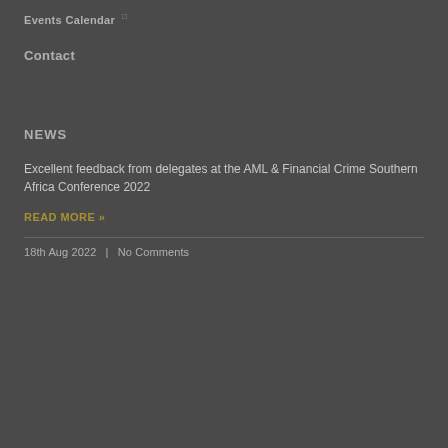Events Calendar
Contact
NEWS
Excellent feedback from delegates at the AML & Financial Crime Southern Africa Conference 2022
READ MORE »
18th Aug 2022  |  No Comments